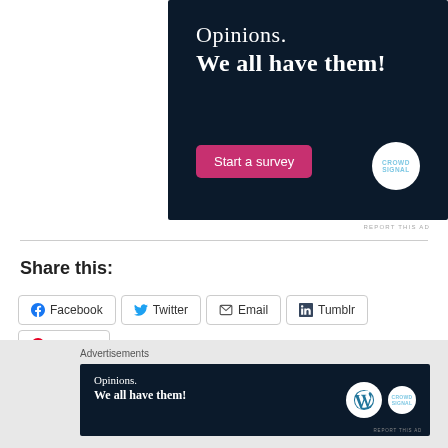[Figure (infographic): Advertisement banner with dark navy background. Text reads 'Opinions. We all have them!' with a pink 'Start a survey' button and Crowdsignal logo circle.]
REPORT THIS AD
Share this:
Facebook
Twitter
Email
Tumblr
Pinterest
More
Advertisements
[Figure (infographic): Bottom advertisement banner with dark navy background. Text reads 'Opinions. We all have them!' with WordPress and Crowdsignal logos.]